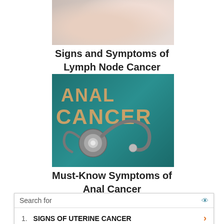[Figure (photo): Partial image of a person (cropped at top), appears to be touching their neck/throat area, white background, medical context for lymph node article]
Signs and Symptoms of Lymph Node Cancer
[Figure (photo): Photo of wooden letter tiles spelling 'ANAL CANCER' on a teal/green background with a stethoscope placed in front]
Must-Know Symptoms of Anal Cancer
[Figure (photo): Partial image of a woman, appears to be looking at something, cropped at bottom]
Search for
1.  SIGNS OF UTERINE CANCER
2.  SYMPTOMS OF UTERINE CANCER
Ad | Business Focus